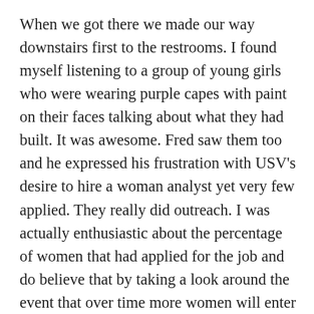When we got there we made our way downstairs first to the restrooms.  I found myself listening to a group of young girls who were wearing purple capes with paint on their faces talking about what they had built.  It was awesome.  Fred saw them too and he expressed his frustration with USV's desire to hire a woman analyst yet very few applied.  They really did outreach.  I was actually enthusiastic about the percentage of women that had applied for the job and do believe that by taking a look around the event that over time more women will enter the tech field and the engineering side will change.  Also USV is a venture firm vs a tech company and I have found that one of the reason women are such great entrepreneurs and CEO's is because they are great at building and being part of teams.  Investors are not teams, they are loan guns